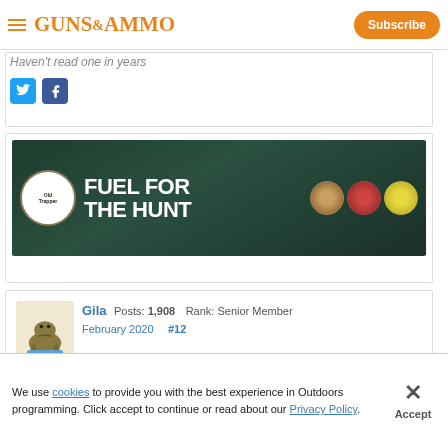GUNS&AMMO | Subscribe
Haven't read one in years
[Figure (screenshot): Twitter and Facebook social share icons]
[Figure (illustration): Old Trapper advertisement: FUEL FOR THE HUNT with jerky product images on dark green background]
Gila  Posts: 1,908  Rank: Senior Member  February 2020  #12
His
[Figure (screenshot): Advertisement overlay - Speer PRESS ON advertisement with close and expand buttons]
We use cookies to provide you with the best experience in Outdoors programming. Click accept to continue or read about our Privacy Policy.